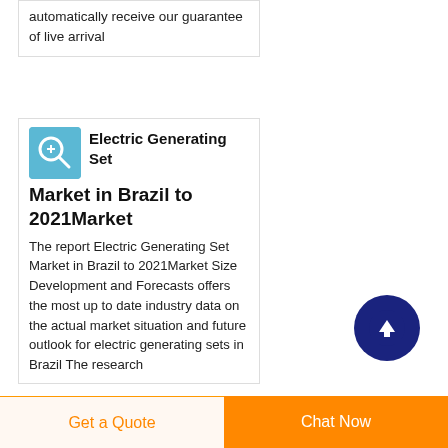automatically receive our guarantee of live arrival
Electric Generating Set Market in Brazil to 2021Market
The report Electric Generating Set Market in Brazil to 2021Market Size Development and Forecasts offers the most up to date industry data on the actual market situation and future outlook for electric generating sets in Brazil The research
[Figure (other): Blue circular icon with a magnifying glass or lens symbol, used as a product/report thumbnail]
[Figure (other): Dark navy circular button with white upward arrow for scroll-to-top navigation]
Get a Quote
Chat Now